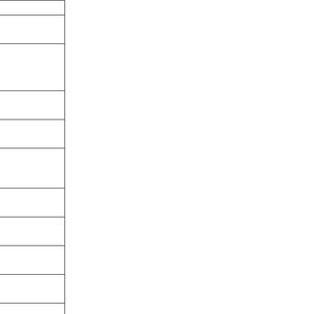| Address | City | ZIP | Date | Info |
| --- | --- | --- | --- | --- |
|  |  |  |  | M... |
| Bonita | Hndrsnville | 38340 | 10/18 | S... L... |
| 101 Indian Lake | Hndrsnville | 37075 | 10/31 | T... |
| 1517 Hunt Club | Gallatin | 37066 | 10/3 | R... L... |
| 378 Penny Morris | Portland | 37148 | 10/23 | G... &... |
| 160 Commerce | Gallatin | 37066 | 10/29 | W... V... &... |
| 338 Sumner Hall | Gallatin | 37066 | 10/1 | G... M... |
| 111 St Charles | Gallatin | 37066 | 10/9 | T... N... |
| 1529 Hunt Club | Gallatin | 37066 | 10/2 | W... B... |
| 7101 Highway 31 | Wstmorlnd | 37186 | 10/4 | M... &... |
| Foxland | Gallatin | 37066 | 10/16 | G... In... |
| Foxland | Gallatin | 37066 | 10/1 | G... |
| 101 Cottage, 100 Placid Grove Cottage | Goodlettsville | 37072 | 10/18 | G... In... |
| 137 Brierfield | Hndrsnville | 37075 | 10/2 | Ja... |